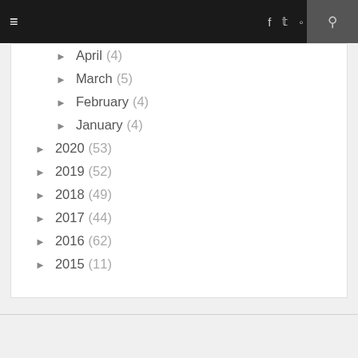Navigation bar with hamburger menu, social icons (f, twitter, instagram, youtube, g+), and search
► April (4)
► March (5)
► February (4)
► January (4)
► 2020 (53)
► 2019 (52)
► 2018 (49)
► 2017 (44)
► 2016 (62)
► 2015 (11)